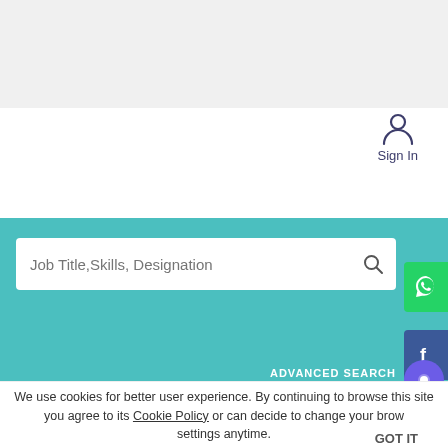[Figure (screenshot): Top gray header bar of a website]
Sign In
[Figure (screenshot): Teal search bar with Job Title, Skills, Designation input and magnifier icon, ADVANCED SEARCH link]
Home >> Jobs >> Centex International Pvt. Ltd., Ludhiana(Punjab)
The job for which you are looking for is CLOSED. It is recommended not to apply for the position any more. CLICK HERE to search more jobs. Thank you for using fibre2fashion-jobs.
We use cookies for better user experience. By continuing to browse this site you agree to its Cookie Policy or can decide to change your browser settings anytime.
GOT IT